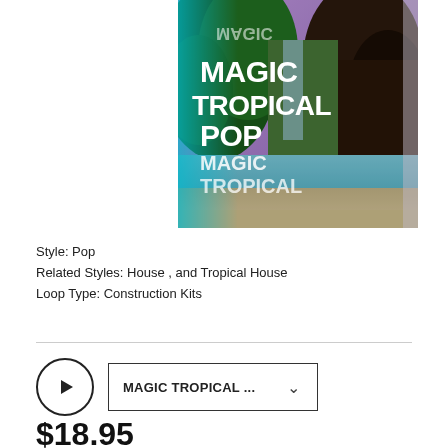[Figure (illustration): Album art for Magic Tropical Pop by Magic Tropical — a tropical beach scene with palm trees, waterfall, sky with purple tones, and bold white text reading MAGIC TROPICAL POP MAGIC TROPICAL on the cover.]
Style: Pop
Related Styles: House , and Tropical House
Loop Type: Construction Kits
[Figure (other): Audio player UI with a circular play button and a track selector dropdown labeled MAGIC TROPICAL ...]
$18.95